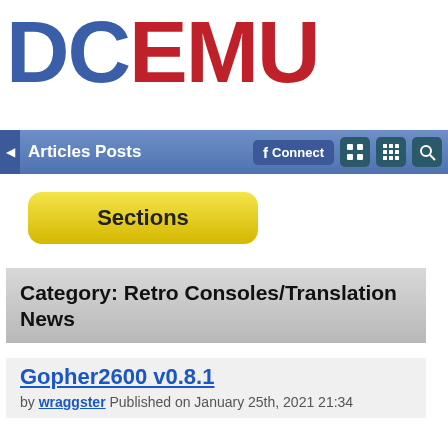[Figure (logo): DCEMU logo with DC in blue and EMU in red, large bold text]
Articles Posts
Sections
Category: Retro Consoles/Translation News
Gopher2600 v0.8.1
by wraggster Published on January 25th, 2021 21:34
Gopher2600 v0.8.1 is released. Gopher2600 is an emulator for the Atari 2600. Whilst the performance is not as efficient as some other emulators it is none-the-